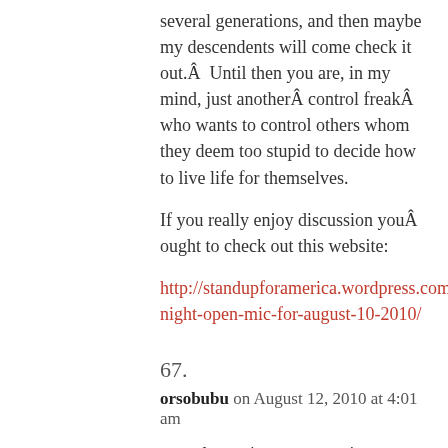several generations, and then maybe my descendents will come check it out.Â  Until then you are, in my mind, just anotherÂ control freakÂ who wants to control others whom they deem too stupid to decide how to live life for themselves.
If you really enjoy discussion youÂ ought to check out this website:
http://standupforamerica.wordpress.com/2010/08/11/tuesday-night-open-mic-for-august-10-2010/
67.
orsobubu on August 12, 2010 at 4:01 am
some last points, mp, my time on this machine is ended and I cannot make propaganda on the internet: when, in the future, you'll realize you need some form of territorial proletarian organization in your country you can write to me at postxng@hotmail.com, I'll help you.